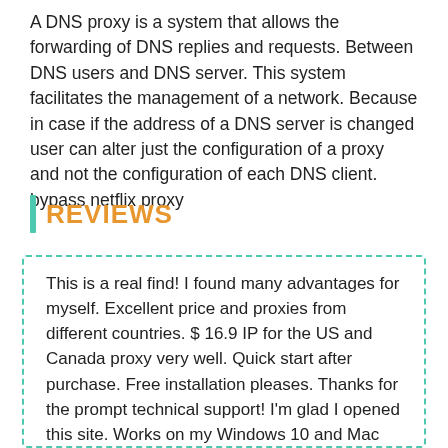A DNS proxy is a system that allows the forwarding of DNS replies and requests. Between DNS users and DNS server. This system facilitates the management of a network. Because in case if the address of a DNS server is changed user can alter just the configuration of a proxy and not the configuration of each DNS client. bypass netflix proxy
REVIEWS
This is a real find! I found many advantages for myself. Excellent price and proxies from different countries. $ 16.9 IP for the US and Canada proxy very well. Quick start after purchase. Free installation pleases. Thanks for the prompt technical support! I'm glad I opened this site. Works on my Windows 10 and Mac OS. I will continue to use. I will recommend to friend!